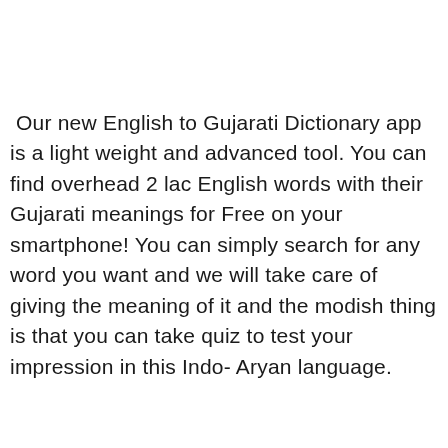Our new English to Gujarati Dictionary app is a light weight and advanced tool. You can find overhead 2 lac English words with their Gujarati meanings for Free on your smartphone! You can simply search for any word you want and we will take care of giving the meaning of it and the modish thing is that you can take quiz to test your impression in this Indo- Aryan language.